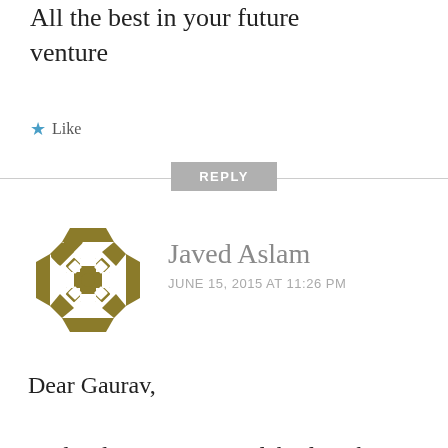All the best in your future venture
★ Like
REPLY
[Figure (logo): Decorative avatar icon in dark gold/olive color, geometric pattern with star/cross shapes inside a hexagonal border]
Javed Aslam
JUNE 15, 2015 AT 11:26 PM
Dear Gaurav,

Androidos.in was one of the first things I check daily and now am sad to hear this, however am sure you are progressing well and it was necessary for you to do this. Hope there is someone to carry you legacy